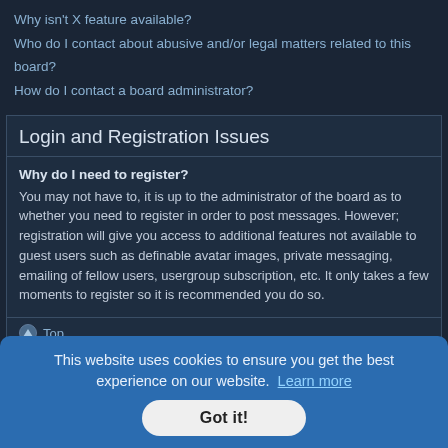Why isn't X feature available?
Who do I contact about abusive and/or legal matters related to this board?
How do I contact a board administrator?
Login and Registration Issues
Why do I need to register?
You may not have to, it is up to the administrator of the board as to whether you need to register in order to post messages. However; registration will give you access to additional features not available to guest users such as definable avatar images, private messaging, emailing of fellow users, usergroup subscription, etc. It only takes a few moments to register so it is recommended you do so.
Top
This website uses cookies to ensure you get the best experience on our website. Learn more
Got it!
w in the
on from
her
ersonally
ure if this
ying to
B Limited
and the owners of this board cannot provide legal advice and is not a point of